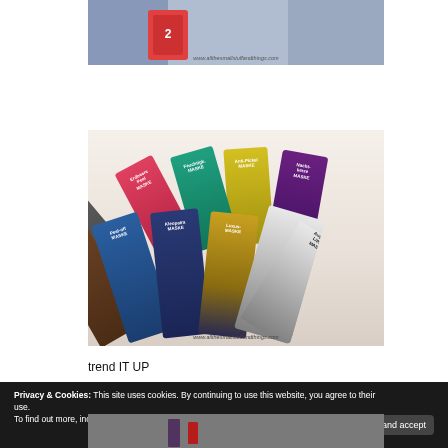[Figure (photo): Top partial photo of what appears to be a cosmetic or electronic product with watermark www.allthesmallstuffandthings.com]
[Figure (photo): Fan arrangement of various face mask packets: Schoko MASKE, Peel-off MASKE, Kleopatra MASKE, Luxus MASKE, Augen & Lippen MASKE, Reinigende MASKE, Erdbeere Peel MASKE, Feuchtigkeits MASKE, Anti-Pickel MASKE, Nachtkerze MASKE. Watermark: www.allthesmallstuffandthings.com]
trend IT UP
Privacy & Cookies: This site uses cookies. By continuing to use this website, you agree to their use.
To find out more, including how to control cookies, see here: Cookie Policy
Close and accept
[Figure (photo): Partial bottom photo, cropped, appears to show a cosmetic product]